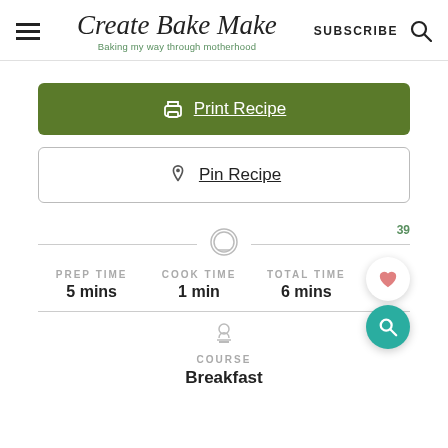Create Bake Make — Baking my way through motherhood — SUBSCRIBE
Print Recipe
Pin Recipe
PREP TIME
5 mins
COOK TIME
1 min
TOTAL TIME
6 mins
COURSE
Breakfast